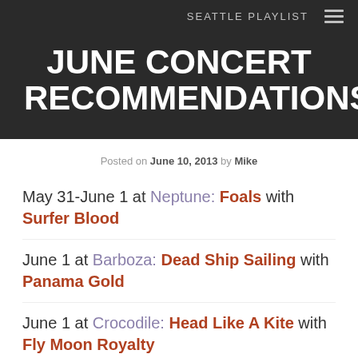SEATTLE PLAYLIST
JUNE CONCERT RECOMMENDATIONS
Posted on June 10, 2013 by Mike
May 31-June 1 at Neptune: Foals with Surfer Blood
June 1 at Barboza: Dead Ship Sailing with Panama Gold
June 1 at Crocodile: Head Like A Kite with Fly Moon Royalty